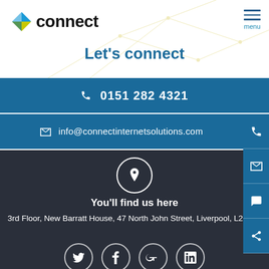[Figure (logo): Connect logo with blue/green/yellow diamond icon and 'connect' text in black bold font]
Let's connect
☎ 0151 282 4321
✉ info@connectinternetsolutions.com
You'll find us here
3rd Floor, New Barratt House, 47 North John Street, Liverpool, L2 6SG